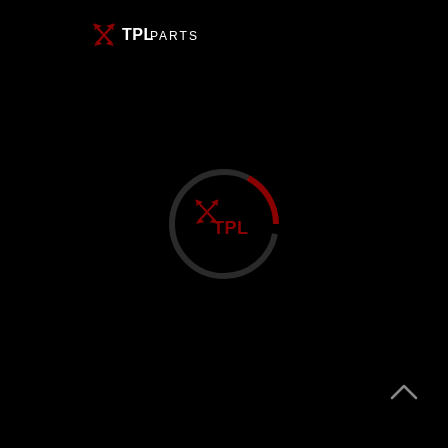[Figure (logo): TPL Parts logo in top left area — stylized crossed arrows icon in dark red/maroon followed by 'TPL' in bold white and 'PARTS' in white text]
[Figure (logo): Center watermark logo — circular arc in dark grey/red with 'TPL' text in dark red with crossed arrows icon, loading spinner style]
[Figure (other): Scroll-to-top chevron arrow in bottom right corner, grey/white color]